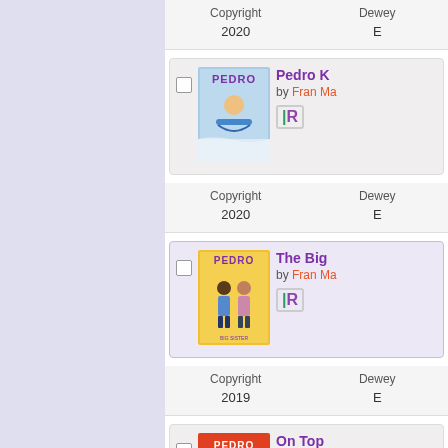| Copyright | Dewey |
| --- | --- |
| 2020 | E |
[Figure (illustration): Book cover for Pedro K with illustration of a child sledding]
Pedro K by Fran Ma
| Copyright | Dewey |
| --- | --- |
| 2020 | E |
[Figure (illustration): Book cover for The Big with illustration of two children standing]
The Big by Fran Ma
| Copyright | Dewey |
| --- | --- |
| 2019 | E |
[Figure (illustration): Book cover for On Top with Pedro logo]